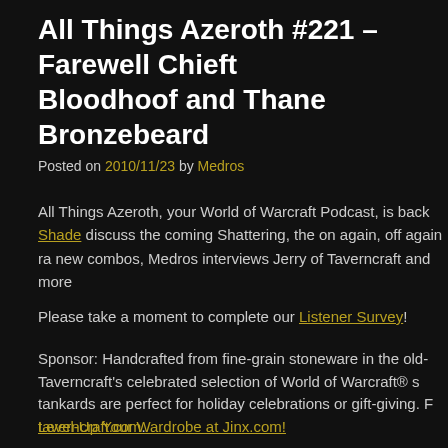All Things Azeroth #221 – Farewell Chieftain Bloodhoof and Thane Bronzebeard
Posted on 2010/11/23 by Medros
All Things Azeroth, your World of Warcraft Podcast, is back with Shade discuss the coming Shattering, the on again, off again ra... new combos, Medros interviews Jerry of Taverncraft and more
Please take a moment to complete our Listener Survey!
Sponsor: Handcrafted from fine-grain stoneware in the old- Taverncraft's celebrated selection of World of Warcraft® st tankards are perfect for holiday celebrations or gift-giving. F taverncraft.com.
Level-Up Your Wardrobe at Jinx.com!
Social Media:
Follow the show on Twitter for live show reminders and media...